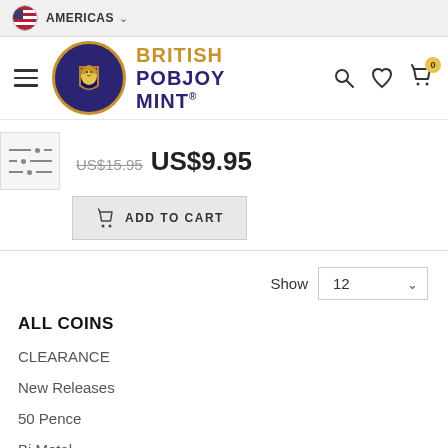AMERICAS
[Figure (logo): British Pobjoy Mint logo with lion shield emblem]
US$15.95 US$9.95
ADD TO CART
Show 12
ALL COINS
CLEARANCE
New Releases
50 Pence
Bi Metal